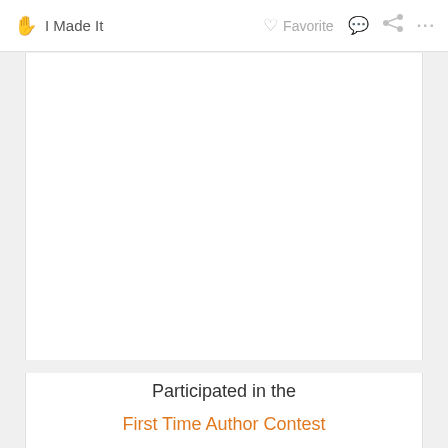✋ I Made It   ♡ Favorite   💬   ⋗   ···
[Figure (other): Large white blank content area — an image placeholder in a web interface]
Participated in the
First Time Author Contest